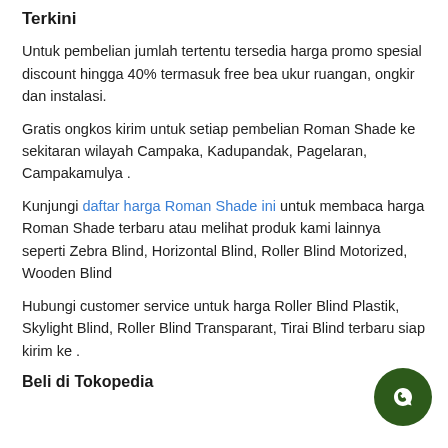Terkini
Untuk pembelian jumlah tertentu tersedia harga promo spesial discount hingga 40% termasuk free bea ukur ruangan, ongkir dan instalasi.
Gratis ongkos kirim untuk setiap pembelian Roman Shade ke sekitaran wilayah Campaka, Kadupandak, Pagelaran, Campakamulya .
Kunjungi daftar harga Roman Shade ini untuk membaca harga Roman Shade terbaru atau melihat produk kami lainnya seperti Zebra Blind, Horizontal Blind, Roller Blind Motorized, Wooden Blind
Hubungi customer service untuk harga Roller Blind Plastik, Skylight Blind, Roller Blind Transparant, Tirai Blind terbaru siap kirim ke .
Beli di Tokopedia
[Figure (illustration): WhatsApp contact button - dark green circle with WhatsApp phone/message icon in white]